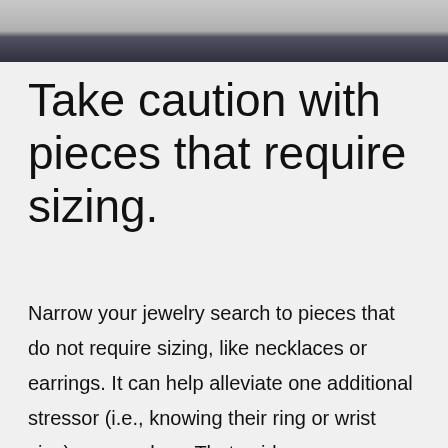[Figure (photo): Bottom portion of a photo showing a person in dark pants, cropped at the waist, with a light background]
Take caution with pieces that require sizing.
Narrow your jewelry search to pieces that do not require sizing, like necklaces or earrings. It can help alleviate one additional stressor (i.e., knowing their ring or wrist size) as you shop. That said, you can simply ask your loved one their size and measure their wrist using this printable wrist sizer if you had your heart set